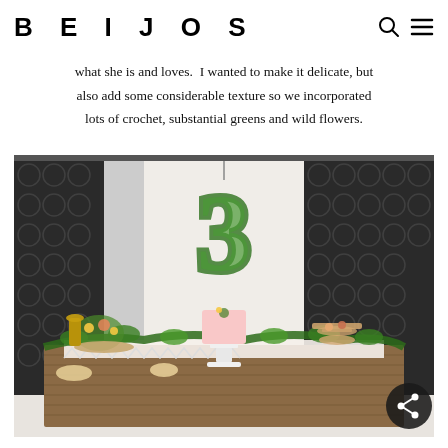BEIJOS
what she is and loves.  I wanted to make it delicate, but also add some considerable texture so we incorporated lots of crochet, substantial greens and wild flowers.
[Figure (photo): Party dessert table with black and white patterned curtains, a green number 3 floral decoration hanging, a pink cake on a white pedestal, assorted sweets, greenery garland, and crochet/lace tablecloth on a wooden table.]